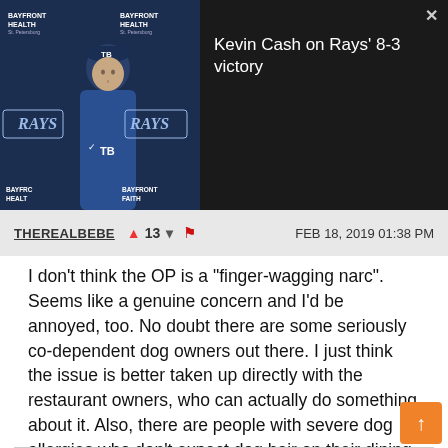[Figure (screenshot): Video thumbnail showing a man in a Tampa Bay Rays baseball cap and jacket at a press conference with Bayfront Health branding in the background]
Kevin Cash on Rays' 8-3 victory
THEREALBEBE  ▲13  ▼  🚩  FEB 18, 2019 01:38 PM
I don't think the OP is a "finger-wagging narc". Seems like a genuine concern and I'd be annoyed, too. No doubt there are some seriously co-dependent dog owners out there. I just think the issue is better taken up directly with the restaurant owners, who can actually do something about it. Also, there are people with severe dog allergies who don't expect dog hair on their dining tables.